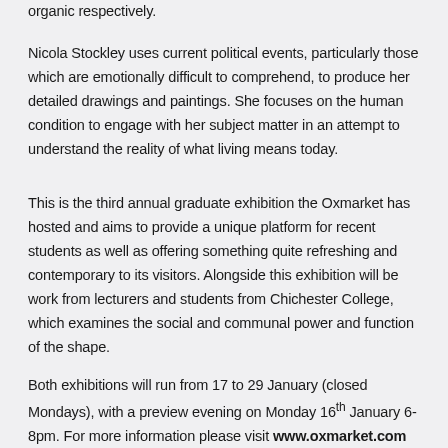organic respectively.
Nicola Stockley uses current political events, particularly those which are emotionally difficult to comprehend, to produce her detailed drawings and paintings. She focuses on the human condition to engage with her subject matter in an attempt to understand the reality of what living means today.
This is the third annual graduate exhibition the Oxmarket has hosted and aims to provide a unique platform for recent students as well as offering something quite refreshing and contemporary to its visitors. Alongside this exhibition will be work from lecturers and students from Chichester College, which examines the social and communal power and function of the shape.
Both exhibitions will run from 17 to 29 January (closed Mondays), with a preview evening on Monday 16th January 6-8pm. For more information please visit www.oxmarket.com